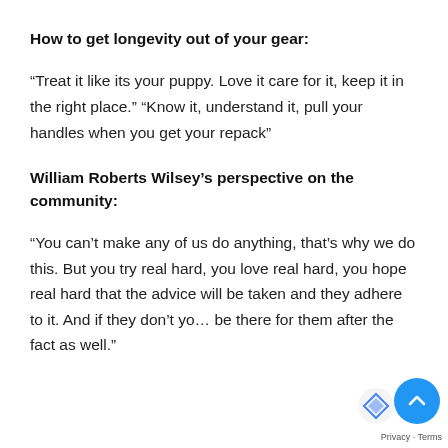How to get longevity out of your gear:
“Treat it like its your puppy. Love it care for it, keep it in the right place.” “Know it, understand it, pull your handles when you get your repack”
William Roberts Wilsey’s perspective on the community:
“You can’t make any of us do anything, that’s why we do this. But you try real hard, you love real hard, you hope real hard that the advice will be taken and they adhere to it. And if they don’t you’ll be there for them after the fact as well.”